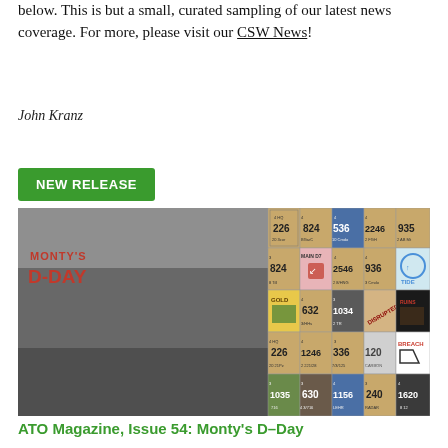below. This is but a small, curated sampling of our latest news coverage. For more, please visit our CSW News!
John Kranz
NEW RELEASE
[Figure (photo): Cover image for ATO Magazine Issue 54: Monty's D-Day, showing black and white World War II soldiers alongside game counter tiles.]
ATO Magazine, Issue 54: Monty's D-Day